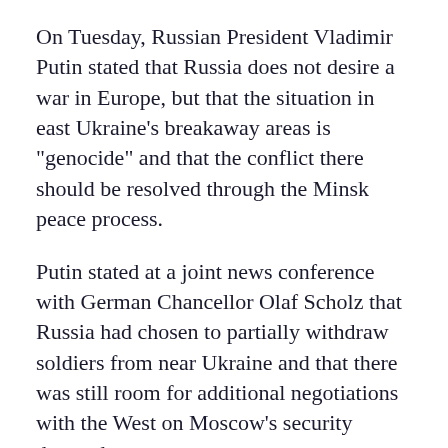On Tuesday, Russian President Vladimir Putin stated that Russia does not desire a war in Europe, but that the situation in east Ukraine's breakaway areas is "genocide" and that the conflict there should be resolved through the Minsk peace process.
Putin stated at a joint news conference with German Chancellor Olaf Scholz that Russia had chosen to partially withdraw soldiers from near Ukraine and that there was still room for additional negotiations with the West on Moscow's security demands.
Putin, on the other hand, stated that Russia's demands received no constructive answer.
Meanwhile, Russia announced on Tuesday that some of its troops were returning to base following manoeuvres